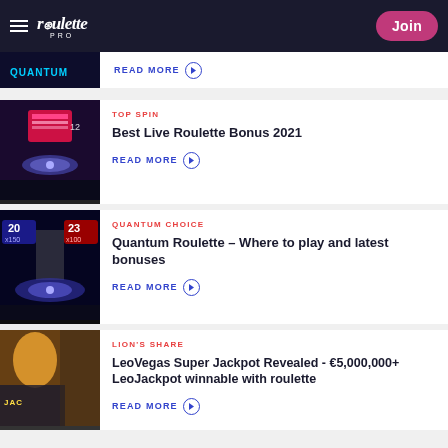Roulette PRO | Join
READ MORE
TOP SPIN
Best Live Roulette Bonus 2021
READ MORE
QUANTUM CHOICE
Quantum Roulette – Where to play and latest bonuses
READ MORE
LION'S SHARE
LeoVegas Super Jackpot Revealed - €5,000,000+ LeoJackpot winnable with roulette
READ MORE